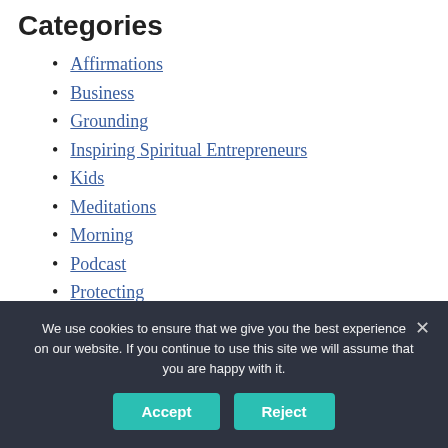Categories
Affirmations
Business
Grounding
Inspiring Spiritual Entrepreneurs
Kids
Meditations
Morning
Podcast
Protecting
Sleep
Spiritual Tools
Uncategorized
We use cookies to ensure that we give you the best experience on our website. If you continue to use this site we will assume that you are happy with it.